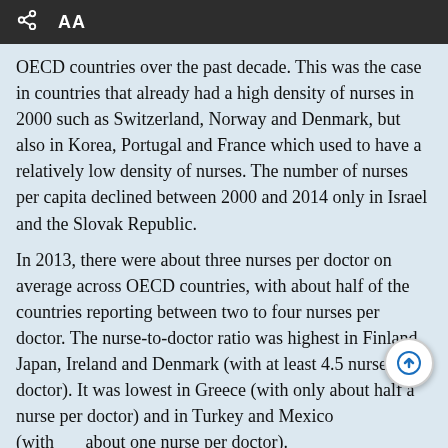AA
OECD countries over the past decade. This was the case in countries that already had a high density of nurses in 2000 such as Switzerland, Norway and Denmark, but also in Korea, Portugal and France which used to have a relatively low density of nurses. The number of nurses per capita declined between 2000 and 2014 only in Israel and the Slovak Republic.
In 2013, there were about three nurses per doctor on average across OECD countries, with about half of the countries reporting between two to four nurses per doctor. The nurse-to-doctor ratio was highest in Finland, Japan, Ireland and Denmark (with at least 4.5 nurses per doctor). It was lowest in Greece (with only about half a nurse per doctor) and in Turkey and Mexico (with about one nurse per doctor).
There were 47 newly graduated nurses per 100 000 population on average across OECD countries in 2014. The number was highest in Korea, Denmark and